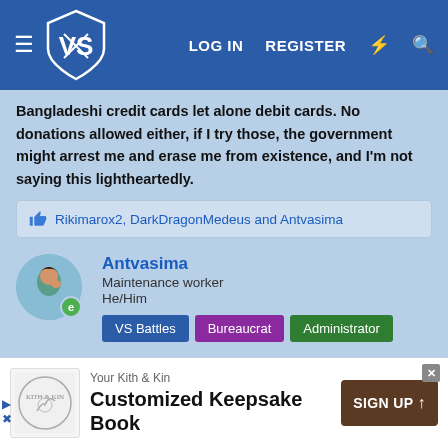VS Battles | LOG IN | REGISTER
Bangladeshi credit cards let alone debit cards. No donations allowed either, if I try those, the government might arrest me and erase me from existence, and I'm not saying this lightheartedly.
Rikimarox2, DarkDragonMedeus and Antvasima
Antvasima
Maintenance worker
He/Him
VS Battles | Bureaucrat | Administrator
[Figure (screenshot): Advertisement for 'Your Kith & Kin' Customized Keepsake Book with a SIGN UP button]